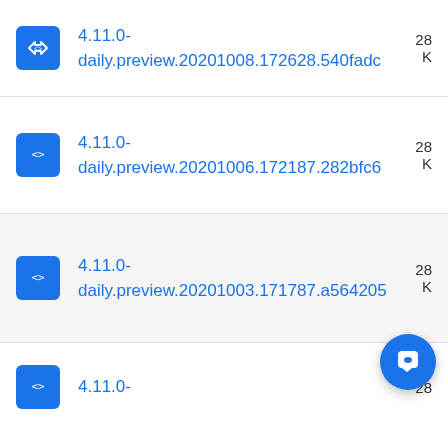4.11.0-daily.preview.20201008.172628.540fadc
4.11.0-daily.preview.20201006.172187.282bfc6
4.11.0-daily.preview.20201003.171787.a564205
4.11.0-